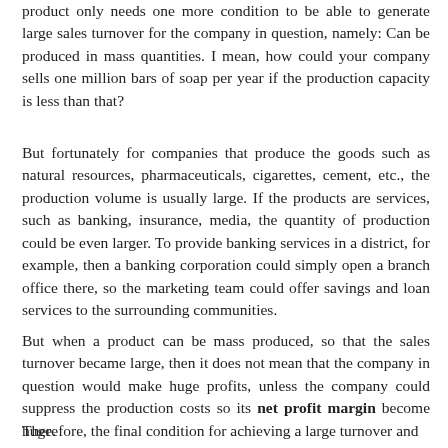product only needs one more condition to be able to generate large sales turnover for the company in question, namely: Can be produced in mass quantities. I mean, how could your company sells one million bars of soap per year if the production capacity is less than that?
But fortunately for companies that produce the goods such as natural resources, pharmaceuticals, cigarettes, cement, etc., the production volume is usually large. If the products are services, such as banking, insurance, media, the quantity of production could be even larger. To provide banking services in a district, for example, then a banking corporation could simply open a branch office there, so the marketing team could offer savings and loan services to the surrounding communities.
But when a product can be mass produced, so that the sales turnover became large, then it does not mean that the company in question would make huge profits, unless the company could suppress the production costs so its net profit margin become huge.
Therefore, the final condition for achieving a large turnover and...